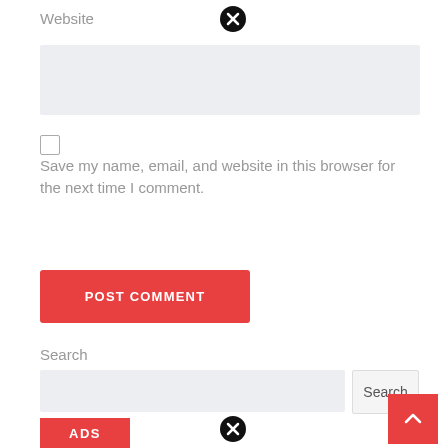Website
[Figure (other): Close/dismiss circle button (black circle with white X) near Website label]
[Figure (other): Light gray text input box for website URL]
[Figure (other): Unchecked checkbox]
Save my name, email, and website in this browser for the next time I comment.
[Figure (other): Red POST COMMENT button]
Search
[Figure (other): Light gray search input box with Search button]
[Figure (other): Red scroll-to-top button with upward chevron]
[Figure (other): Red ADS button at bottom]
[Figure (other): Close/dismiss circle button (black circle with white X) at bottom]